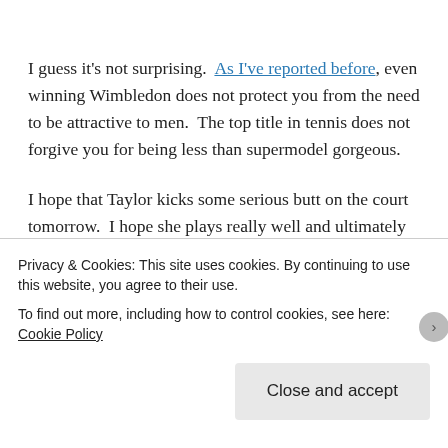I guess it's not surprising. As I've reported before, even winning Wimbledon does not protect you from the need to be attractive to men. The top title in tennis does not forgive you for being less than supermodel gorgeous.
I hope that Taylor kicks some serious butt on the court tomorrow. I hope she plays really well and ultimately triumphs. I have to admit that I don't hold out a lot of hope however, that Taylor Townsend will ever win victory
Privacy & Cookies: This site uses cookies. By continuing to use this website, you agree to their use.
To find out more, including how to control cookies, see here: Cookie Policy
Close and accept